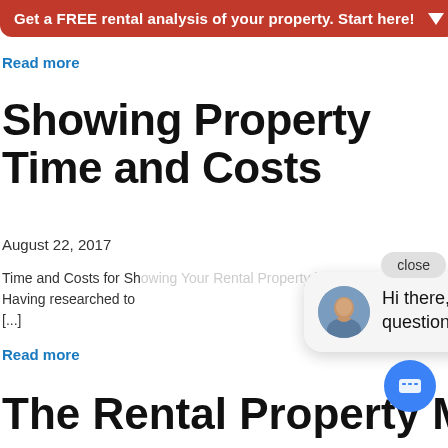Get a FREE rental analysis of your property. Start here!
Read more
Showing Property Time and Costs
August 22, 2017
Time and Costs for Showing Your Rental Property in San Antonio Having researched [...] to
Read more
[Figure (other): Chat popup with woman avatar and message: Hi there, have a question? Text us here. Close button and blue chat icon button.]
The Rental Property Market